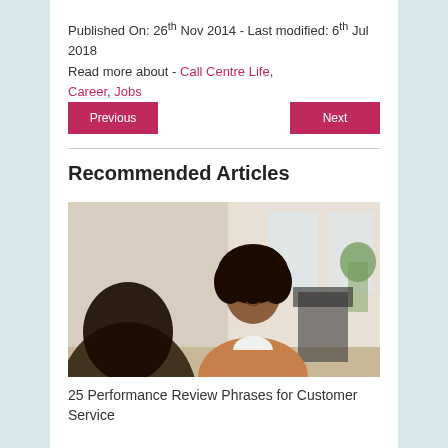Published On: 26th Nov 2014 - Last modified: 6th Jul 2018
Read more about - Call Centre Life, Career, Jobs
Previous | Next
Recommended Articles
[Figure (photo): A woman with curly hair wearing a camel blazer, sitting at a desk in an office setting, smiling at someone across from her.]
25 Performance Review Phrases for Customer Service